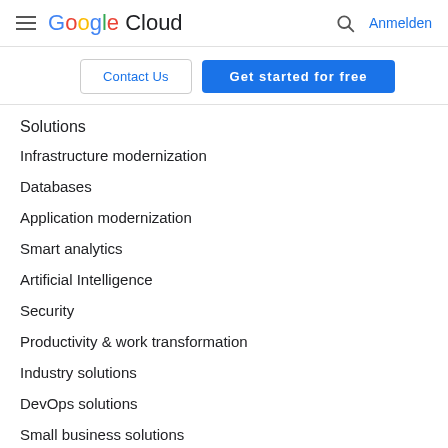Google Cloud — Anmelden
Contact Us | Get started for free
Solutions
Infrastructure modernization
Databases
Application modernization
Smart analytics
Artificial Intelligence
Security
Productivity & work transformation
Industry solutions
DevOps solutions
Small business solutions